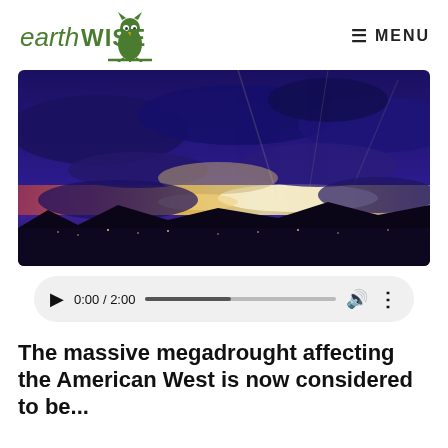earthWISE MENU
[Figure (photo): Dramatic sunset sky with dark storm clouds, golden and orange light breaking through the clouds on the horizon, with a dark silhouetted landscape below.]
[Figure (other): Audio player showing 0:00 / 2:00 with progress bar, play button, volume and more options controls.]
The massive megadrought affecting the American West is now considered to be...